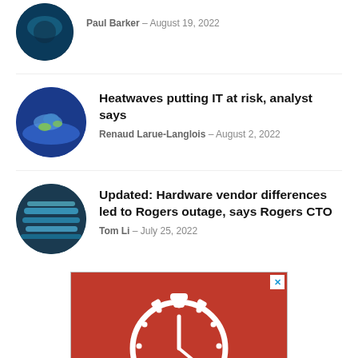Paul Barker - August 19, 2022
Heatwaves putting IT at risk, analyst says
Renaud Larue-Langlois - August 2, 2022
Updated: Hardware vendor differences led to Rogers outage, says Rogers CTO
Tom Li - July 25, 2022
[Figure (photo): Red advertisement banner with white stopwatch icon]